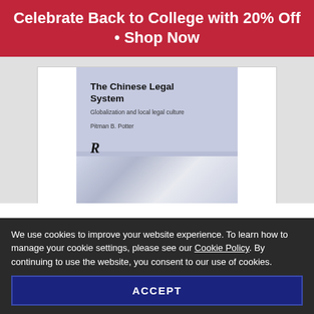Celebrate Back to College with 20% Off • Shop Now
[Figure (photo): Book cover of 'The Chinese Legal System: Globalization and local legal culture' by Pitman B. Potter, with a blue-grey cover showing the Routledge publisher logo]
We use cookies to improve your website experience. To learn how to manage your cookie settings, please see our Cookie Policy. By continuing to use the website, you consent to our use of cookies.
ACCEPT